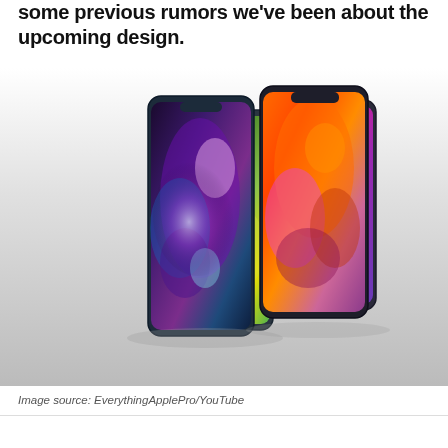some previous rumors we've been about the upcoming design.
[Figure (photo): Concept render of four iPhones in two groups. Left group shows two phones with colorful dark floral/abstract wallpapers (blue-purple and green-yellow). Right group shows two phones with vibrant orange-purple fluid abstract wallpapers. All phones have flat edges and a notch at the top.]
Image source: EverythingApplePro/YouTube